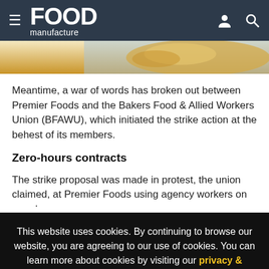Food Manufacture - website header with hamburger menu, logo, user icon and search icon
[Figure (photo): Close-up food photo strip showing a pastry or pie dish]
Meantime, a war of words has broken out between Premier Foods and the Bakers Food & Allied Workers Union (BFAWU), which initiated the strike action at the behest of its members.
Zero-hours contracts
The strike proposal was made in protest, the union claimed, at Premier Foods using agency workers on zero-hours
This website uses cookies. By continuing to browse our website, you are agreeing to our use of cookies. You can learn more about cookies by visiting our privacy & cookies policy page.
I Agree